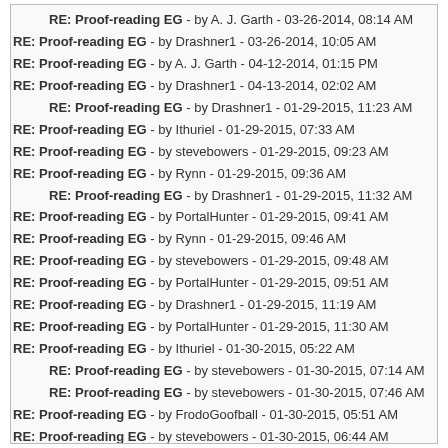RE: Proof-reading EG - by A. J. Garth - 03-26-2014, 08:14 AM
RE: Proof-reading EG - by Drashner1 - 03-26-2014, 10:05 AM
RE: Proof-reading EG - by A. J. Garth - 04-12-2014, 01:15 PM
RE: Proof-reading EG - by Drashner1 - 04-13-2014, 02:02 AM
RE: Proof-reading EG - by Drashner1 - 01-29-2015, 11:23 AM
RE: Proof-reading EG - by Ithuriel - 01-29-2015, 07:33 AM
RE: Proof-reading EG - by stevebowers - 01-29-2015, 09:23 AM
RE: Proof-reading EG - by Rynn - 01-29-2015, 09:36 AM
RE: Proof-reading EG - by Drashner1 - 01-29-2015, 11:32 AM
RE: Proof-reading EG - by PortalHunter - 01-29-2015, 09:41 AM
RE: Proof-reading EG - by Rynn - 01-29-2015, 09:46 AM
RE: Proof-reading EG - by stevebowers - 01-29-2015, 09:48 AM
RE: Proof-reading EG - by PortalHunter - 01-29-2015, 09:51 AM
RE: Proof-reading EG - by Drashner1 - 01-29-2015, 11:19 AM
RE: Proof-reading EG - by PortalHunter - 01-29-2015, 11:30 AM
RE: Proof-reading EG - by Ithuriel - 01-30-2015, 05:22 AM
RE: Proof-reading EG - by stevebowers - 01-30-2015, 07:14 AM
RE: Proof-reading EG - by stevebowers - 01-30-2015, 07:46 AM
RE: Proof-reading EG - by FrodoGoofball - 01-30-2015, 05:51 AM
RE: Proof-reading EG - by stevebowers - 01-30-2015, 06:44 AM
RE: Proof-reading EG - by Ithuriel - 02-11-2015, 09:03 PM
RE: Proof-reading EG - by stevebowers. - 02-12-2015, 03:29 AM
RE: Proof-reading EG - by Ithuriel - 02-11-2015, 09:41 PM
RE: Proof-reading EG - by Matterplay1 - 02-12-2015, 01:31 AM
RE: Proof-reading EG - by PortalHunter - 02-12-2015, 07:48 AM